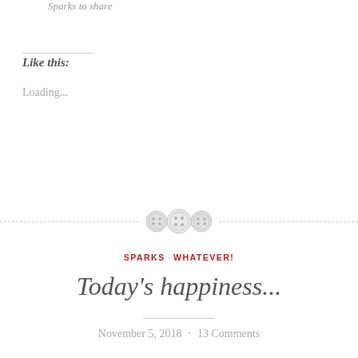Sparks to share
Like this:
Loading...
[Figure (other): Decorative divider with three button icons and dashed lines on either side]
SPARKS · WHATEVER!
Today's happiness...
November 5, 2018 · 13 Comments